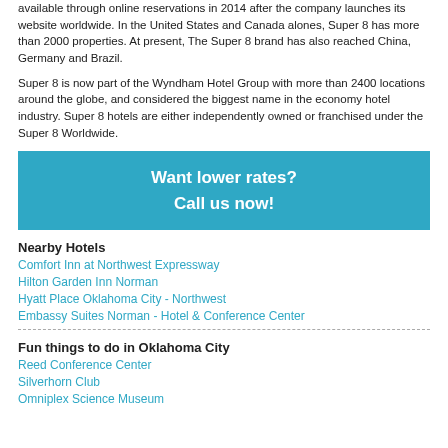available through online reservations in 2014 after the company launches its website worldwide. In the United States and Canada alones, Super 8 has more than 2000 properties. At present, The Super 8 brand has also reached China, Germany and Brazil.
Super 8 is now part of the Wyndham Hotel Group with more than 2400 locations around the globe, and considered the biggest name in the economy hotel industry. Super 8 hotels are either independently owned or franchised under the Super 8 Worldwide.
[Figure (infographic): Teal/blue call-to-action banner with white bold text reading 'Want lower rates? Call us now!']
Nearby Hotels
Comfort Inn at Northwest Expressway
Hilton Garden Inn Norman
Hyatt Place Oklahoma City - Northwest
Embassy Suites Norman - Hotel & Conference Center
Fun things to do in Oklahoma City
Reed Conference Center
Silverhorn Club
Omniplex Science Museum